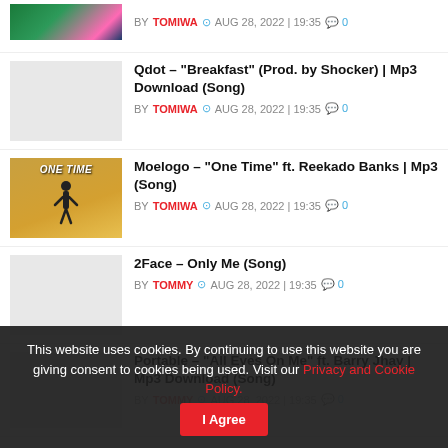BY TOMIWA  AUG 28, 2022 | 19:35  0
Qdot – "Breakfast" (Prod. by Shocker) | Mp3 Download (Song) — BY TOMIWA  AUG 28, 2022 | 19:35  0
Moelogo – "One Time" ft. Reekado Banks | Mp3 (Song) — BY TOMIWA  AUG 28, 2022 | 19:35  0
2Face – Only Me (Song) — BY TOMMY  AUG 28, 2022 | 19:35  0
Portable – "All Eyes On Me" ft. Barry Jhay | Mp3 Download (Song) — BY TOMMY  AUG 28, 2022 | 19:35  0
This website uses cookies. By continuing to use this website you are giving consent to cookies being used. Visit our Privacy and Cookie Policy.